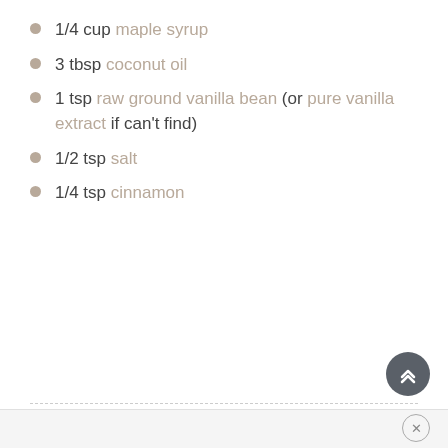1/4 cup maple syrup
3 tbsp coconut oil
1 tsp raw ground vanilla bean (or pure vanilla extract if can't find)
1/2 tsp salt
1/4 tsp cinnamon
INSTRUCTIONS